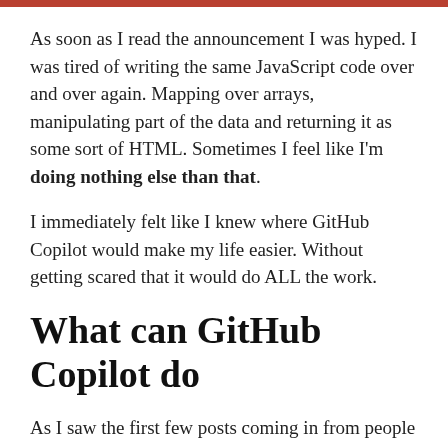As soon as I read the announcement I was hyped. I was tired of writing the same JavaScript code over and over again. Mapping over arrays, manipulating part of the data and returning it as some sort of HTML. Sometimes I feel like I'm doing nothing else than that.
I immediately felt like I knew where GitHub Copilot would make my life easier. Without getting scared that it would do ALL the work.
What can GitHub Copilot do
As I saw the first few posts coming in from people who where lucky enough to try it out, I felt supported in my gut feeling, in my assumption in